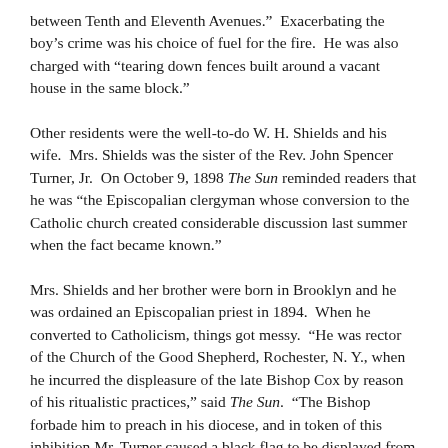between Tenth and Eleventh Avenues.”  Exacerbating the boy’s crime was his choice of fuel for the fire.  He was also charged with “tearing down fences built around a vacant house in the same block.”
Other residents were the well-to-do W. H. Shields and his wife.  Mrs. Shields was the sister of the Rev. John Spencer Turner, Jr.  On October 9, 1898 The Sun reminded readers that he was “the Episcopalian clergyman whose conversion to the Catholic church created considerable discussion last summer when the fact became known.”
Mrs. Shields and her brother were born in Brooklyn and he was ordained an Episcopalian priest in 1894.  When he converted to Catholicism, things got messy.  “He was rector of the Church of the Good Shepherd, Rochester, N. Y., when he incurred the displeasure of the late Bishop Cox by reason of his ritualistic practices,” said The Sun.  “The Bishop forbade him to preach in his diocese, and in token of this inhibition Mr. Turner caused a black flag to be displayed from his residence.”